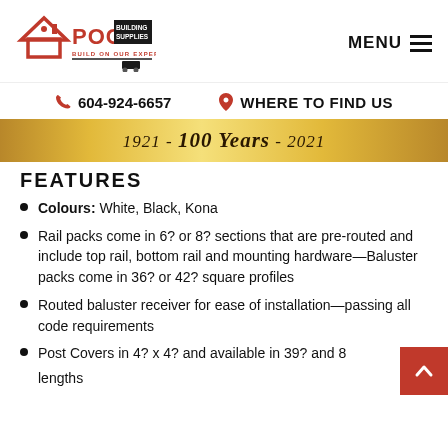[Figure (logo): POCO Building Supplies logo with house icon and tagline BUILD ON OUR EXPERIENCE]
MENU ≡
604-924-6657   WHERE TO FIND US
1921 -  100 Years  - 2021
FEATURES
Colours: White, Black, Kona
Rail packs come in 6? or 8? sections that are pre-routed and include top rail, bottom rail and mounting hardware—Baluster packs come in 36? or 42? square profiles
Routed baluster receiver for ease of installation—passing all code requirements
Post Covers in 4? x 4? and available in 39? and 82? lengths